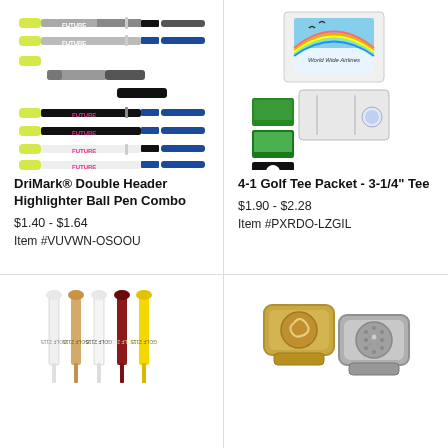[Figure (photo): DriMark Double Header Highlighter Ball Pen Combo - multiple pens in silver/black/blue and black/blue/white colorways with yellow highlighter ends]
DriMark® Double Header Highlighter Ball Pen Combo
$1.40 - $1.64
Item #VUVWN-OSOOU
[Figure (photo): 4-1 Golf Tee Packet - 3-1/4 inch Tee, showing white packet holders and small golf photo cards with World Wide Airlines branding]
4-1 Golf Tee Packet - 3-1/4" Tee
$1.90 - $2.28
Item #PXRDO-LZGIL
[Figure (photo): Golf tees in white, tan, white, dark red, and yellow colors with text printed on them]
[Figure (photo): Gold-tone and silver-tone golf ball marker money clips with decorative embossed designs]